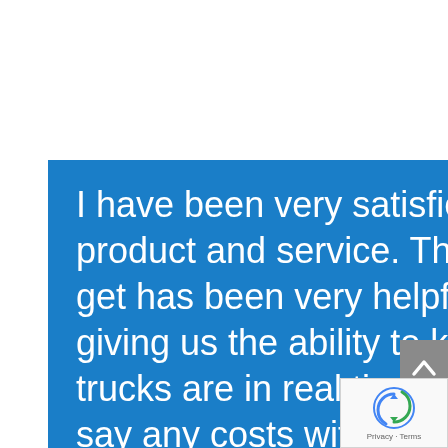I have been very satisfied with your company's product and service. The real-time reporting we get has been very helpful in tracking our trucks, giving us the ability to know exactly where our trucks are in real time. I feel like I can truthfully say any costs with the program are more than recovered in the efficiencies we get by using your tracking software. I would have no problem (in fact I already have on several occasions) recommending your product to